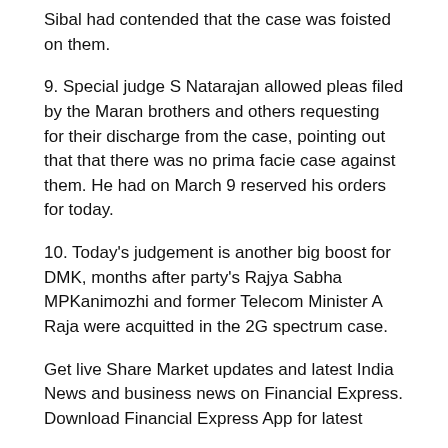Sibal had contended that the case was foisted on them.
9. Special judge S Natarajan allowed pleas filed by the Maran brothers and others requesting for their discharge from the case, pointing out that that there was no prima facie case against them. He had on March 9 reserved his orders for today.
10. Today's judgement is another big boost for DMK, months after party's Rajya Sabha MPKanimozhi and former Telecom Minister A Raja were acquitted in the 2G spectrum case.
Get live Share Market updates and latest India News and business news on Financial Express. Download Financial Express App for latest